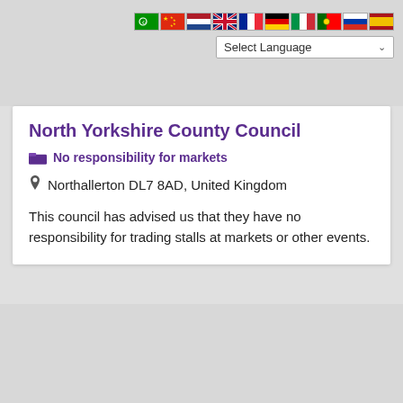[Figure (screenshot): Row of country flags (Arabic/Saudi, China, Netherlands, UK, France, Germany, Italy, Portugal, Russia, Spain) followed by a Select Language dropdown]
North Yorkshire County Council
No responsibility for markets
Northallerton DL7 8AD, United Kingdom
This council has advised us that they have no responsibility for trading stalls at markets or other events.